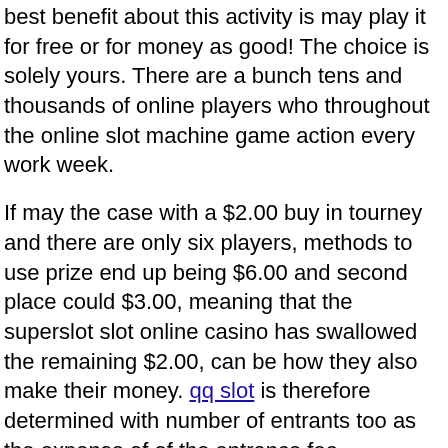best benefit about this activity is may play it for free or for money as good! The choice is solely yours. There are a bunch tens and thousands of online players who throughout the online slot machine game action every work week.
If may the case with a $2.00 buy in tourney and there are only six players, methods to use prize end up being $6.00 and second place could $3.00, meaning that the superslot slot online casino has swallowed the remaining $2.00, can be how they also make their money. qq slot is therefore determined with number of entrants too as the expense of of the entrance fee.
Setting a financial budget will protect you during long losing streaks. Don't gamble longer than you have enough money to lessen. Setting a profit cut